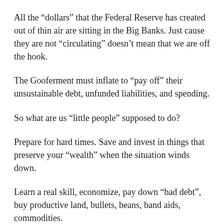All the “dollars” that the Federal Reserve has created out of thin air are sitting in the Big Banks. Just cause they are not “circulating” doesn’t mean that we are off the hook.
The Gooferment must inflate to “pay off” their unsustainable debt, unfunded liabilities, and spending.
So what are us “little people” supposed to do?
Prepare for hard times. Save and invest in things that preserve your “wealth” when the situation winds down.
Learn a real skill, economize, pay down “bad debt”, buy productive land, bullets, beans, band aids, commodities.
Gold, silver, and nickels.